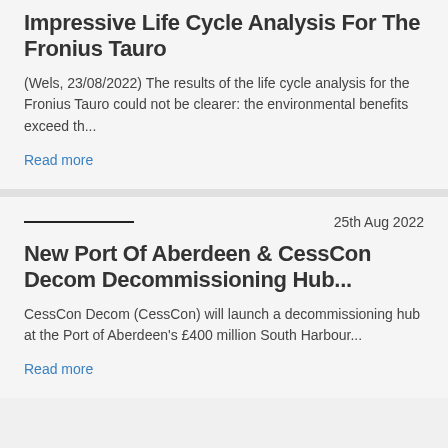Impressive Life Cycle Analysis For The Fronius Tauro
(Wels, 23/08/2022) The results of the life cycle analysis for the Fronius Tauro could not be clearer: the environmental benefits exceed th...
Read more
25th Aug 2022
New Port Of Aberdeen & CessCon Decom Decommissioning Hub...
CessCon Decom (CessCon) will launch a decommissioning hub at the Port of Aberdeen's £400 million South Harbour...
Read more